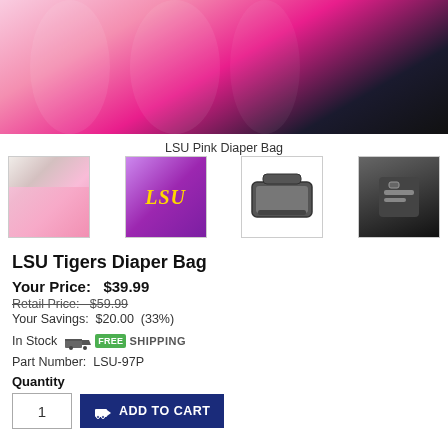[Figure (photo): Large product photo of LSU Pink Diaper Bag — pink bag against dark background]
LSU Pink Diaper Bag
[Figure (photo): Four product thumbnail images: (1) person wearing pink LSU diaper bag, (2) LSU purple logo square, (3) black diaper bag open/flat lay, (4) black detail view of bag]
LSU Tigers Diaper Bag
Your Price:   $39.99
Retail Price:   $59.99
Your Savings:   $20.00   (33%)
In Stock   FREE SHIPPING
Part Number:  LSU-97P
Quantity
1   ADD TO CART